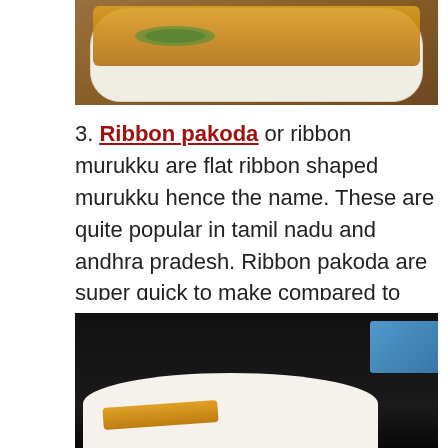[Figure (photo): Top portion of a plate with golden fried ribbon pakoda/murukku on a white decorative plate with green leaf design, placed on a brown wooden surface.]
3. Ribbon pakoda or ribbon murukku are flat ribbon shaped murukku hence the name. These are quite popular in tamil nadu and andhra pradesh. Ribbon pakoda are super quick to make compared to the other murukku varieties as the dough need not be shaped to individual portions.
[Figure (photo): Bottom portion showing ribbon pakoda on a white plate against a dark/black background, with a blue tray partially visible in the upper right corner.]